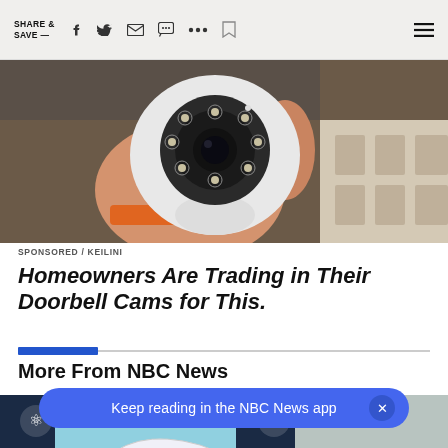SHARE & SAVE —
[Figure (photo): A hand holding a white dome-shaped security camera with a circular lens and multiple LEDs, with an orange tool visible in the background and white packaging.]
SPONSORED / KEILINI
Homeowners Are Trading in Their Doorbell Cams for This.
More From NBC News
[Figure (screenshot): Bottom section showing NBC News article thumbnails with NBC peacock logo overlaid, and a blue notification banner reading 'Keep reading in the NBC News app' with an X close button.]